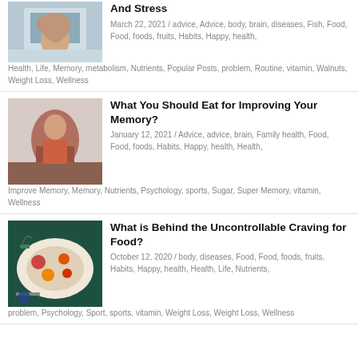[Figure (photo): Woman stressed at laptop computer holding head in hands]
And Stress
March 22, 2021 / advice, Advice, body, brain, diseases, Fish, Food, Food, foods, fruits, Habits, Happy, health, Health, Life, Memory, metabolism, Nutrients, Popular Posts, problem, Routine, vitamin, Walnuts, Weight Loss, Wellness
[Figure (photo): Woman in red jacket sitting reading a book]
What You Should Eat for Improving Your Memory?
January 12, 2021 / Advice, advice, brain, Family health, Food, Food, foods, Habits, Happy, health, Health, Improve Memory, Memory, Nutrients, Psychology, sports, Sugar, Super Memory, vitamin, Wellness
[Figure (photo): Overhead view of a plate of colorful food including fruits and vegetables on blue background]
What is Behind the Uncontrollable Craving for Food?
October 12, 2020 / body, diseases, Food, Food, foods, fruits, Habits, Happy, health, Health, Life, Nutrients, problem, Psychology, Sport, sports, vitamin, Weight Loss, Weight Loss, Wellness